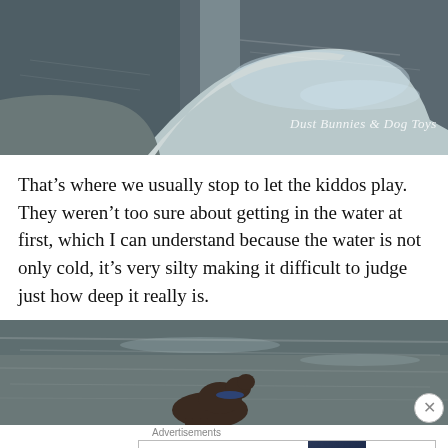[Figure (photo): Aerial or landscape view of a sandy spit or beach with silty, dark water on either side, watermark reading 'Dust Bunnies & Dog Toys' in script]
That’s where we usually stop to let the kiddos play. They weren’t too sure about getting in the water at first, which I can understand because the water is not only cold, it’s very silty making it difficult to judge just how deep it really is.
[Figure (photo): Photo of silty dark water with a dog partially visible in the foreground]
Advertisements
[Figure (screenshot): Bloomingdale's advertisement showing logo, 'View Today's Top Deals!', a woman in a wide-brim hat, and a 'SHOP NOW >' button]